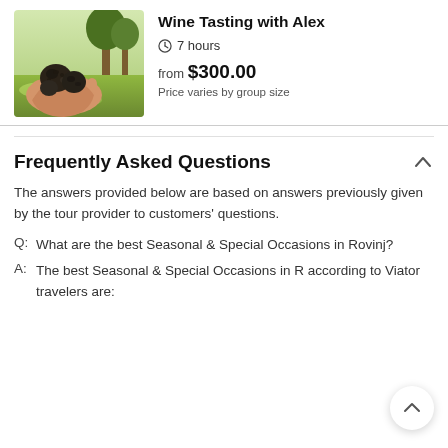[Figure (photo): A hand holding dark truffles outdoors with green trees/grass background]
Wine Tasting with Alex
7 hours
from $300.00
Price varies by group size
Frequently Asked Questions
The answers provided below are based on answers previously given by the tour provider to customers' questions.
Q:  What are the best Seasonal & Special Occasions in Rovinj?
A:  The best Seasonal & Special Occasions in R according to Viator travelers are: